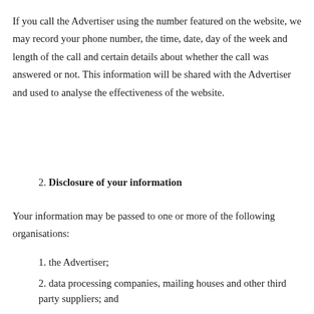If you call the Advertiser using the number featured on the website, we may record your phone number, the time, date, day of the week and length of the call and certain details about whether the call was answered or not. This information will be shared with the Advertiser and used to analyse the effectiveness of the website.
2. Disclosure of your information
Your information may be passed to one or more of the following organisations:
1. the Advertiser;
2. data processing companies, mailing houses and other third party suppliers; and